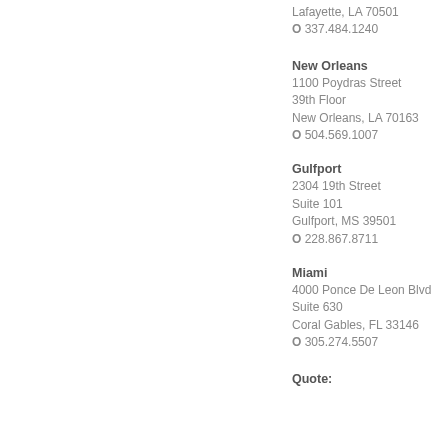Lafayette, LA 70501
O 337.484.1240
New Orleans
1100 Poydras Street
39th Floor
New Orleans, LA 70163
O 504.569.1007
Gulfport
2304 19th Street
Suite 101
Gulfport, MS 39501
O 228.867.8711
Miami
4000 Ponce De Leon Blvd
Suite 630
Coral Gables, FL 33146
O 305.274.5507
Quote: